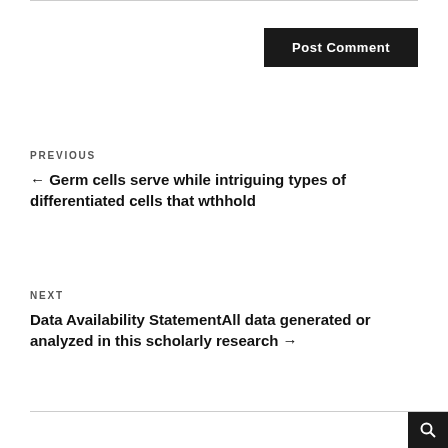Post Comment
PREVIOUS
← Germ cells serve while intriguing types of differentiated cells that wthhold
NEXT
Data Availability StatementAll data generated or analyzed in this scholarly research →